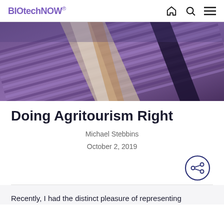BIOtechNOW
[Figure (photo): Aerial view of lavender fields with a road cutting through, showing alternating purple crop rows from above]
Doing Agritourism Right
Michael Stebbins
October 2, 2019
Recently, I had the distinct pleasure of representing